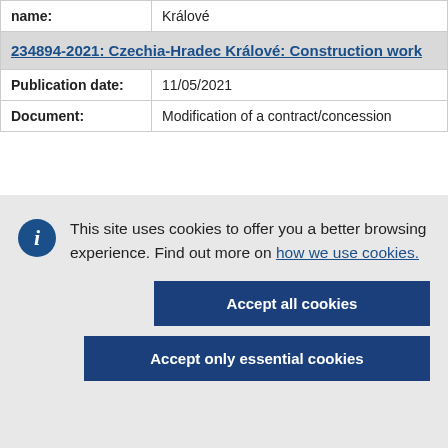| name: | Králové |
| 234894-2021: Czechia-Hradec Králové: Construction work |  |
| Publication date: | 11/05/2021 |
| Document: | Modification of a contract/concession |
This site uses cookies to offer you a better browsing experience. Find out more on how we use cookies.
Accept all cookies
Accept only essential cookies